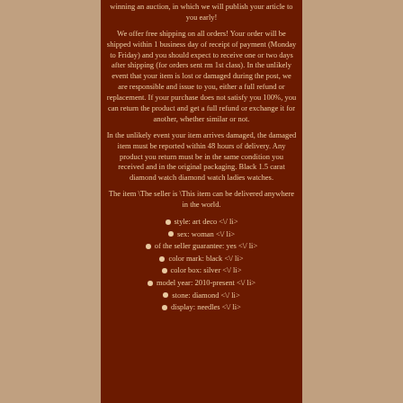winning an auction, in which we will publish your article to you early!
We offer free shipping on all orders! Your order will be shipped within 1 business day of receipt of payment (Monday to Friday) and you should expect to receive one or two days after shipping (for orders sent rm 1st class). In the unlikely event that your item is lost or damaged during the post, we are responsible and issue to you, either a full refund or replacement. If your purchase does not satisfy you 100%, you can return the product and get a full refund or exchange it for another, whether similar or not.
In the unlikely event your item arrives damaged, the damaged item must be reported within 48 hours of delivery. Any product you return must be in the same condition you received and in the original packaging. Black 1.5 carat diamond watch diamond watch ladies watches.
The item \The seller is \This item can be delivered anywhere in the world.
style: art deco <\/ li>
sex: woman <\/ li>
of the seller guarantee: yes <\/ li>
color mark: black <\/ li>
color box: silver <\/ li>
model year: 2010-present <\/ li>
stone: diamond <\/ li>
display: needles <\/ li>